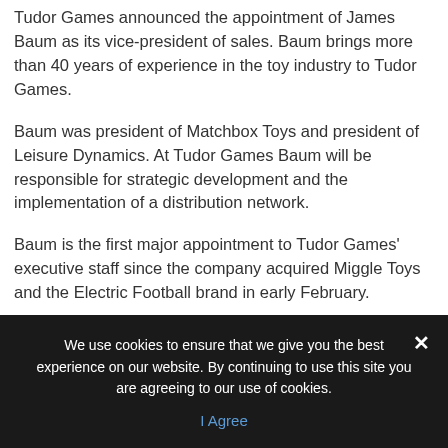Tudor Games announced the appointment of James Baum as its vice-president of sales. Baum brings more than 40 years of experience in the toy industry to Tudor Games.
Baum was president of Matchbox Toys and president of Leisure Dynamics. At Tudor Games Baum will be responsible for strategic development and the implementation of a distribution network.
Baum is the first major appointment to Tudor Games' executive staff since the company acquired Miggle Toys and the Electric Football brand in early February.
We use cookies to ensure that we give you the best experience on our website. By continuing to use this site you are agreeing to our use of cookies.